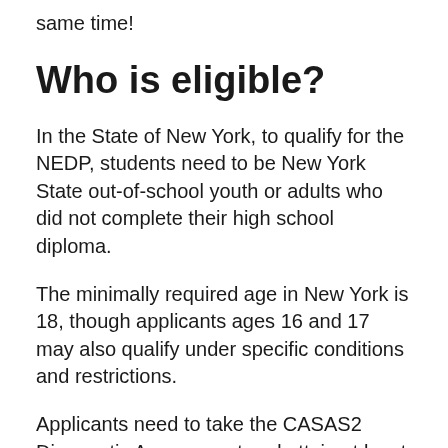same time!
Who is eligible?
In the State of New York, to qualify for the NEDP, students need to be New York State out-of-school youth or adults who did not complete their high school diploma.
The minimally required age in New York is 18, though applicants ages 16 and 17 may also qualify under specific conditions and restrictions.
Applicants need to take the CASAS2 Diagnostic Assessment and attain at least a 9th-grade level equivalency and attain at least a 9-score on the TABE-D3 math and